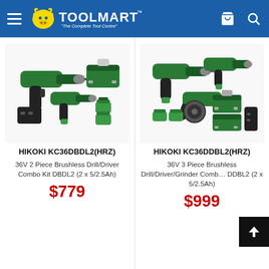TOOLMART "The Complete Tool Centre"
[Figure (photo): HiKOKI KC36DBDL2(HRZ) — 36V 2 piece brushless drill/driver combo kit with two batteries and case]
HiKOKI KC36DBDL2(HRZ)
36V 2 Piece Brushless Drill/Driver Combo Kit DBDL2 (2 x 5/2.5Ah)
$779
[Figure (photo): HiKOKI KC36DDBL2(HRZ) — 36V 3 piece brushless drill/driver/grinder combo kit with two batteries and case]
HiKOKI KC36DDBL2(HRZ)
36V 3 Piece Brushless Drill/Driver/Grinder Combo DDBL2 (2 x 5/2.5Ah)
$999